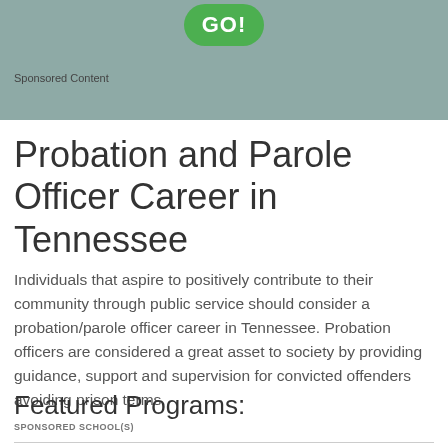[Figure (other): Green GO! button on a gray-green banner background with 'Sponsored Content' label]
Probation and Parole Officer Career in Tennessee
Individuals that aspire to positively contribute to their community through public service should consider a probation/parole officer career in Tennessee. Probation officers are considered a great asset to society by providing guidance, support and supervision for convicted offenders avoiding prison terms.
Featured Programs:
SPONSORED SCHOOL(S)